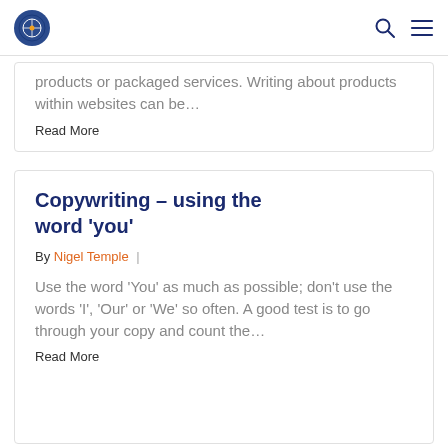[Logo] [Search] [Menu]
products or packaged services. Writing about products within websites can be…
Read More
Copywriting – using the word 'you'
By Nigel Temple |
Use the word 'You' as much as possible; don't use the words 'I', 'Our' or 'We' so often. A good test is to go through your copy and count the…
Read More